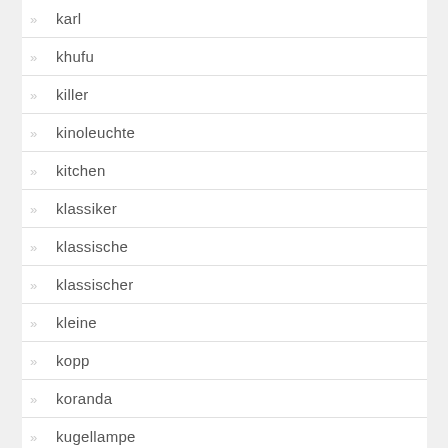karl
khufu
killer
kinoleuchte
kitchen
klassiker
klassische
klassischer
kleine
kopp
koranda
kugellampe